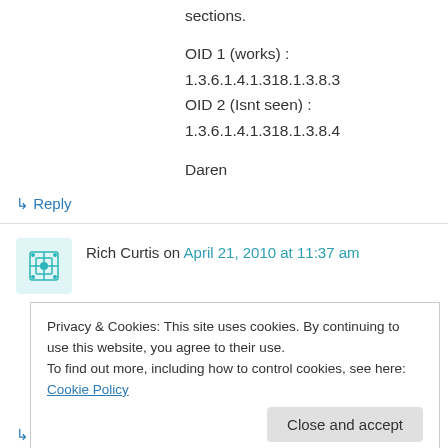sections.
OID 1 (works) : 1.3.6.1.4.1.318.1.3.8.3
OID 2 (Isnt seen) : 1.3.6.1.4.1.318.1.3.8.4
Daren
↳ Reply
Rich Curtis on April 21, 2010 at 11:37 am
I've added two Checkpoint Nokia IP560 devices
Privacy & Cookies: This site uses cookies. By continuing to use this website, you agree to their use.
To find out more, including how to control cookies, see here: Cookie Policy
Close and accept
↳ Reply